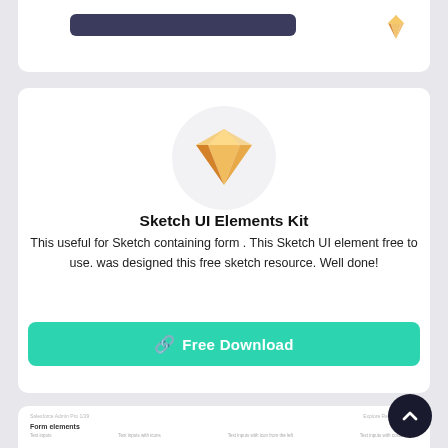[Figure (screenshot): Top white card snippet with dark navy blue UI bar and small Sketch app diamond logo icon in top-right corner]
[Figure (illustration): Sketch app diamond gem logo centered in a light grey circle]
Sketch UI Elements Kit
This useful for Sketch containing form . This Sketch UI element free to use. was designed this free sketch resource. Well done!
[Figure (other): Teal/green Free Download button with a chain-link icon on the left]
[Figure (screenshot): Bottom of page showing partial white card with 'Form elements' header and column labels: Text inputs, Text inputs with icons, Text inputs with icon from the left, Text inputs with custom fields. A dark circular scroll-to-top arrow button is in the bottom-right.]